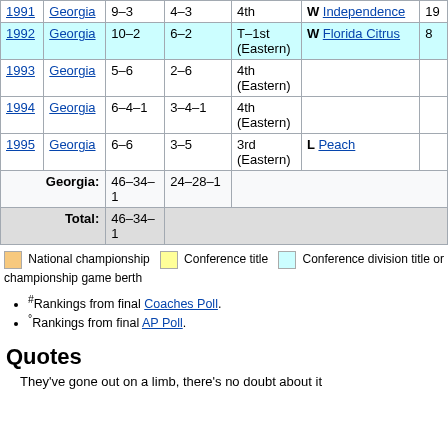| Year | Team | Overall | Conf | Standing | Bowl/Postseason |  |
| --- | --- | --- | --- | --- | --- | --- |
| 1991 | Georgia | 9–3 | 4–3 | 4th | W Independence | 19 |
| 1992 | Georgia | 10–2 | 6–2 | T–1st (Eastern) | W Florida Citrus | 8 |
| 1993 | Georgia | 5–6 | 2–6 | 4th (Eastern) |  |  |
| 1994 | Georgia | 6–4–1 | 3–4–1 | 4th (Eastern) |  |  |
| 1995 | Georgia | 6–6 | 3–5 | 3rd (Eastern) | L Peach |  |
| Georgia: |  | 46–34–1 | 24–28–1 |  |  |  |
| Total: |  | 46–34–1 |  |  |  |  |
National championship   Conference title   Conference division title or championship game berth
# Rankings from final Coaches Poll.
° Rankings from final AP Poll.
Quotes
They've gone out on a limb, there's no doubt about it